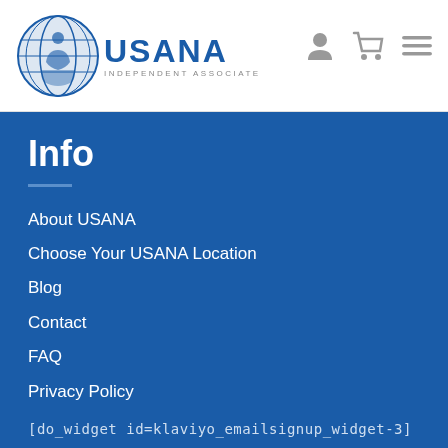[Figure (logo): USANA Independent Associate logo with globe graphic and blue USANA text]
Info
About USANA
Choose Your USANA Location
Blog
Contact
FAQ
Privacy Policy
[do_widget id=klaviyo_emailsignup_widget-3]